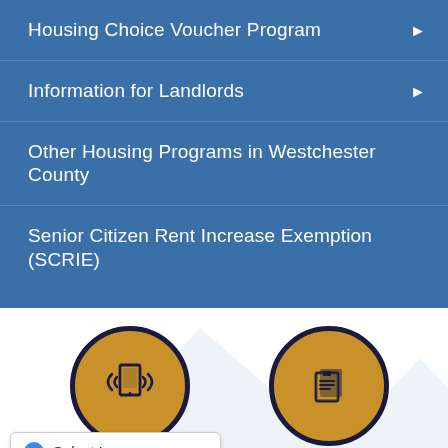Housing Choice Voucher Program
Information for Landlords
Other Housing Programs in Westchester County
Senior Citizen Rent Increase Exemption (SCRIE)
[Figure (illustration): Gold circle icon with dark navy border containing a mobile device with signal/broadcast waves icon]
[Figure (illustration): Gold circle icon with dark navy border containing a clipboard/documents icon]
Select Language